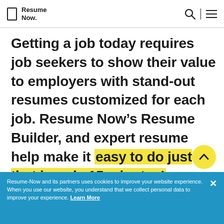Resume Now.
Getting a job today requires job seekers to show their value to employers with stand-out resumes customized for each job. Resume Now’s Resume Builder, and expert resume help make it easy to do just that in only 15 minutes!
Resume-Now and its partners uses cookies to improve your website experience. When you use our website, you understand that we collect personal data to improve your experience. Learn More